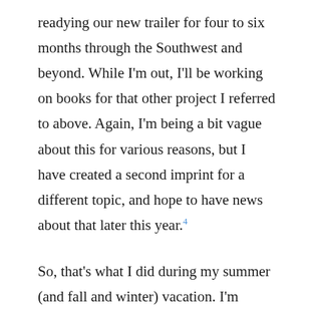readying our new trailer for four to six months through the Southwest and beyond. While I'm out, I'll be working on books for that other project I referred to above. Again, I'm being a bit vague about this for various reasons, but I have created a second imprint for a different topic, and hope to have news about that later this year.⁴
So, that's what I did during my summer (and fall and winter) vacation. I'm extremely proud of what Nan has created, as much as I am at being able to help her realize her vision, and I look forward to the things that this year will